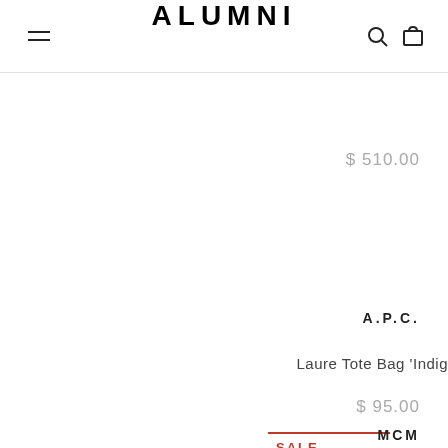ALUMNI
$ 510.00
A.P.C.
Laure Tote Bag 'Indig
$ 95.00
SALE
MCM